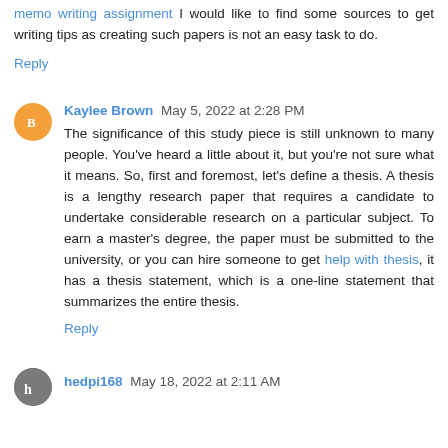memo writing assignment I would like to find some sources to get writing tips as creating such papers is not an easy task to do.
Reply
Kaylee Brown May 5, 2022 at 2:28 PM
The significance of this study piece is still unknown to many people. You've heard a little about it, but you're not sure what it means. So, first and foremost, let's define a thesis. A thesis is a lengthy research paper that requires a candidate to undertake considerable research on a particular subject. To earn a master's degree, the paper must be submitted to the university, or you can hire someone to get help with thesis, it has a thesis statement, which is a one-line statement that summarizes the entire thesis.
Reply
hedpi168 May 18, 2022 at 2:11 AM